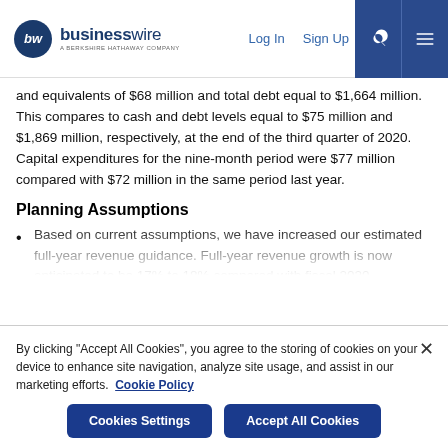businesswire — A BERKSHIRE HATHAWAY COMPANY | Log In | Sign Up
and equivalents of $68 million and total debt equal to $1,664 million. This compares to cash and debt levels equal to $75 million and $1,869 million, respectively, at the end of the third quarter of 2020. Capital expenditures for the nine-month period were $77 million compared with $72 million in the same period last year.
Planning Assumptions
Based on current assumptions, we have increased our estimated full-year revenue guidance. Full-year revenue growth is now anticipated to be 17% to 18% compared with fiscal 2020...
By clicking "Accept All Cookies", you agree to the storing of cookies on your device to enhance site navigation, analyze site usage, and assist in our marketing efforts. Cookie Policy
Cookies Settings | Accept All Cookies